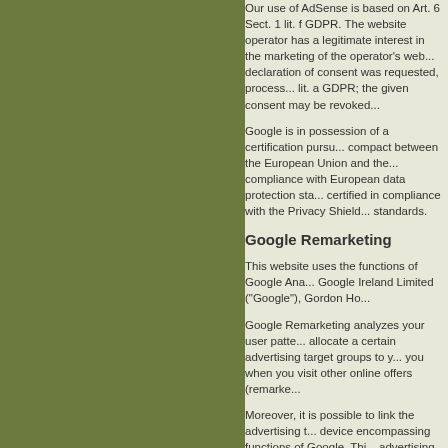Our use of AdSense is based on Art. 6 Sect. 1 lit. f GDPR. The website operator has a legitimate interest in the marketing of the operator's website. Insofar as a respective declaration of consent was requested, processing is based exclusively on Art. 6 Sect. 1 lit. a GDPR; the given consent may be revoked at any time.
Google is in possession of a certification pursuant to the "Privacy Shield" compact between the European Union and the United States, which guarantees compliance with European data protection standards. Google LLC, headquartered in the USA, is certified in compliance with the Privacy Shield. The Privacy Shield is an agreement to ensure that data is stored and processed in line with European data protection standards.
Google Remarketing
This website uses the functions of Google Analytics Remarketing. The provider is Google Ireland Limited ("Google"), Gordon Ho...
Google Remarketing analyzes your user patterns on our website (e.g. clicks on specific products) to allocate a certain advertising target groups to you and to subsequently show fitting online advertisements to you when you visit other online offers (remarketing or retargeting).
Moreover, it is possible to link the advertising target groups generated with Google Remarketing with device encompassing functions of Google. This allows us to display interest-based customized advertising messages, depending on your prior usage and browsing patterns on a device (e.g. cell phone) in a manner tailored to you as well as on any of your devices.
If you have a Google account, you have the opportunity to object to personalized advertising at the following link: https://www.google.com/settings...
The use of Google Remarketing is based on Art. 6 Sect. 1 lit. f GDPR. The website operator has a legitimate interest in the marketing of the operator's website. Insofar as a respective declaration of consent was requested, processing is based exclusively on Art. 6 Sect. 1 lit. a GDPR; the given consent may b...
For further information and the pertinent data protection regulations, please consult the Privacy Policies of Google at: https://policies.google.co...
Google Conversion-Tracking